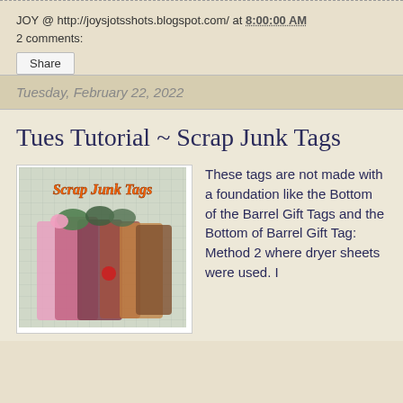JOY @ http://joysjotsshots.blogspot.com/ at 8:00:00 AM
2 comments:
Share
Tuesday, February 22, 2022
Tues Tutorial ~ Scrap Junk Tags
[Figure (photo): Photo of Scrap Junk Tags craft project — colorful fabric/scrap material tags with text overlay reading 'Scrap Junk Tags' in orange italic font on a grid cutting mat background]
These tags are not made with a foundation like the Bottom of the Barrel Gift Tags and the Bottom of Barrel Gift Tag: Method 2 where dryer sheets were used. I